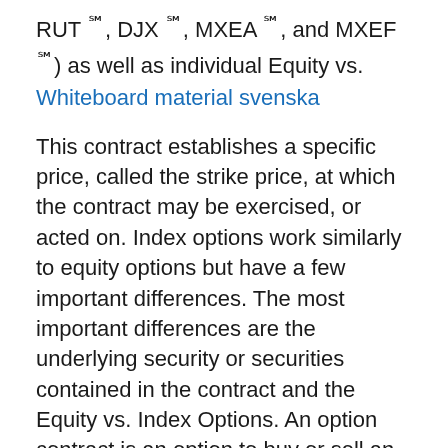RUT ℠, DJX ℠, MXEA ℠, and MXEF ℠) as well as individual Equity vs.
Whiteboard material svenska
This contract establishes a specific price, called the strike price, at which the contract may be exercised, or acted on. Index options work similarly to equity options but have a few important differences. The most important differences are the underlying security or securities contained in the contract and the Equity vs. Index Options. An option contract is an option to buy or sell an underlying asset over a defined period of time, which could be a stock, index, futures, or commodity. While an equity option gives you exposure to a single stock, index options are financial derivatives that are based on stock indices like the S&P 500 Index (SPX) or the Dow